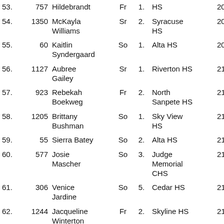| Place | Bib | Name | Yr | # | School | Time |
| --- | --- | --- | --- | --- | --- | --- |
| 53. | 757 | Hildebrandt | Fr | 1. | HS | 20:57.8 |
| 54. | 1350 | McKayla Williams | Sr | 2. | Syracuse HS | 20:57.9 |
| 55. | 60 | Kaitlin Syndergaard | So | 1. | Alta HS | 20:59.4 |
| 56. | 1127 | Aubree Gailey | Sr | 1. | Riverton HS | 21:01.2 |
| 57. | 923 | Rebekah Boekweg | Fr | 2. | North Sanpete HS | 21:01.9 |
| 58. | 1205 | Brittany Bushman | So | 1. | Sky View HS | 21:02.5 |
| 59. | 55 | Sierra Batey | So | 2. | Alta HS | 21:03.6 |
| 60. | 577 | Josie Mascher | So | 3. | Judge Memorial CHS | 21:03.9 |
| 61. | 306 | Venice Jardine | So | 5. | Cedar HS | 21:08.5 |
| 62. | 1244 | Jacqueline Winterton | Fr | 2. | Skyline HS | 21:09.3 |
| 63. | 58 | Sierra Murri | Fr | 3. | Alta HS | 21:10.3 |
| 64. | 424 | Lizzy Wallin | Sr | 7. | Davis HS | 21:11.7 |
| 65. | 1469 | Heather | Sr | 2. | Timpview | 21:12.0 |